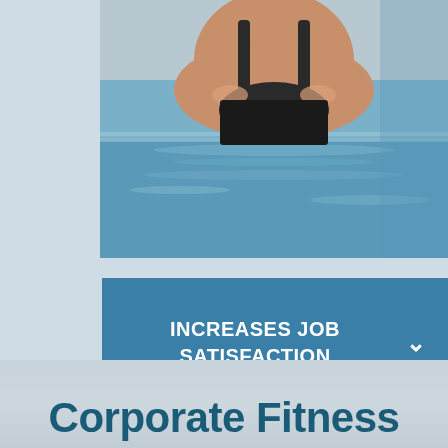[Figure (photo): Woman in a swimming pool, wearing a black swimsuit and swim cap, with water visible at shoulder level. Photo is cropped showing head, neck and shoulders above blue pool water.]
INCREASES JOB SATISFACTION
Corporate Fitness